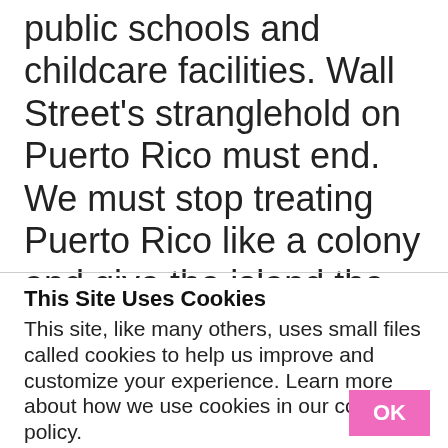public schools and childcare facilities. Wall Street's stranglehold on Puerto Rico must end. We must stop treating Puerto Rico like a colony and give the island the debt relief it so desperately needs. Further, it is time to dissolve the disastrous PROMESA financial control
This Site Uses Cookies
This site, like many others, uses small files called cookies to help us improve and customize your experience. Learn more about how we use cookies in our cookie policy.